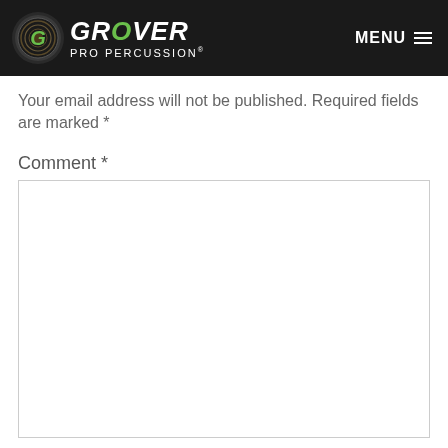Grover Pro Percussion — MENU
Your email address will not be published. Required fields are marked *
Comment *